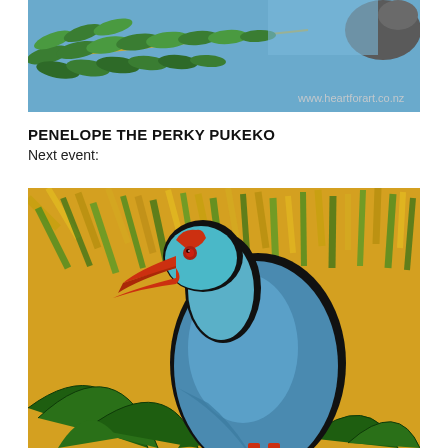[Figure (illustration): Painting of green fern leaves with a blue sky and dark animal visible at top right. Website watermark 'www.heartforart.co.nz' visible in bottom right of image.]
PENELOPE THE PERKY PUKEKO
Next event:
[Figure (illustration): Painting of a Pukeko bird (New Zealand swamphen) with vivid blue-teal plumage and bright red-orange beak, set against a background of yellow-green grass strokes and dark green flax leaves in the foreground.]